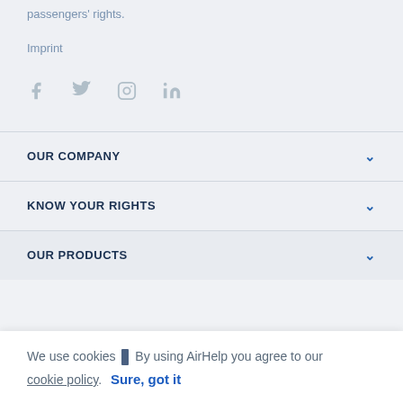passengers' rights.
Imprint
[Figure (other): Social media icons: Facebook, Twitter, Instagram, LinkedIn]
OUR COMPANY
KNOW YOUR RIGHTS
OUR PRODUCTS
We use cookies | By using AirHelp you agree to our cookie policy. Sure, got it